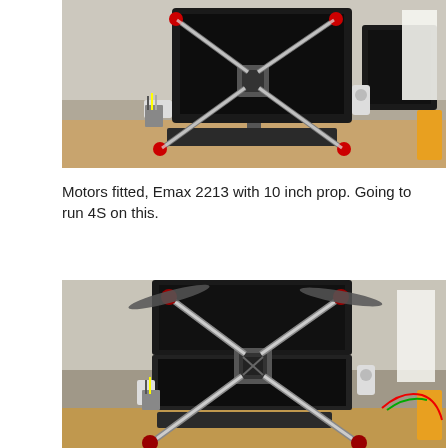[Figure (photo): Quadcopter drone frame with motors fitted (Emax 2213) and 10 inch props, photographed on a desk with monitors, keyboard, speakers, and tools in the background. View from front/above angle, no propellers visible.]
Motors fitted, Emax 2213 with 10 inch prop. Going to run 4S on this.
[Figure (photo): Same quadcopter drone frame now with propellers attached, photographed on a desk with monitors, keyboard, speakers, and tools in the background. View from front, propellers visible on top of each arm.]